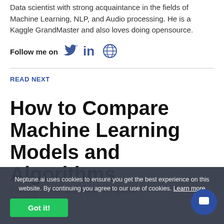Data scientist with strong acquaintance in the fields of Machine Learning, NLP, and Audio processing. He is a Kaggle GrandMaster and also loves doing opensource.
Follow me on [Twitter] [LinkedIn] [Website]
READ NEXT
How to Compare Machine Learning Models and Algorithms
8 min read | Author Samadrita Ghosh | Updated ... 16th, 2021
Neptune.ai uses cookies to ensure you get the best experience on this website. By continuing you agree to our use of cookies. Learn more
Got it!